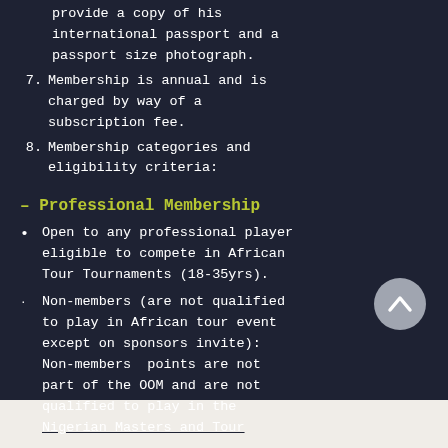provide a copy of his international passport and a passport size photograph.
7. Membership is annual and is charged by way of a subscription fee.
8. Membership categories and eligibility criteria:
– Professional Membership
Open to any professional player eligible to compete in African Tour Tournaments (18-35yrs).
Non-members (are not qualified to play in African tour event except on sponsors invite): Non-members  points are not part of the OOM and are not qualified to play in the Nigerian Masters and Tour